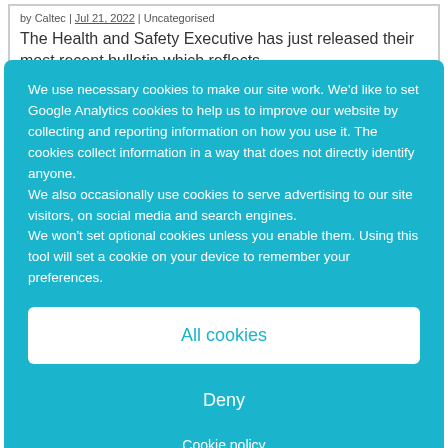by Caltec | Jul 21, 2022 | Uncategorised
The Health and Safety Executive has just released their most recent bulletin which reflects...
We use necessary cookies to make our site work. We'd like to set Google Analytics cookies to help us to improve our website by collecting and reporting information on how you use it. The cookies collect information in a way that does not directly identify anyone.
We also occasionally use cookies to serve advertising to our site visitors, on social media and search engines.
We won't set optional cookies unless you enable them. Using this tool will set a cookie on your device to remember your preferences.
All cookies
Deny
Cookie policy
2023 Polestar
by Caltec | Apr 20, 2022 | Uncategorised